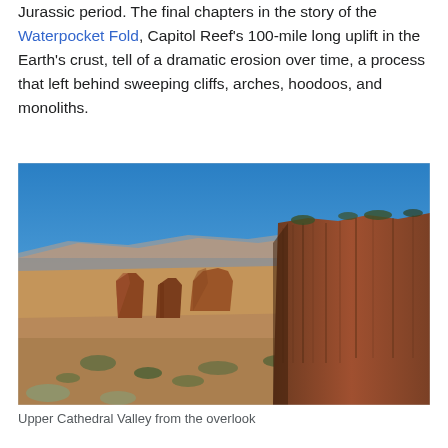Jurassic period. The final chapters in the story of the Waterpocket Fold, Capitol Reef's 100-mile long uplift in the Earth's crust, tell of a dramatic erosion over time, a process that left behind sweeping cliffs, arches, hoodoos, and monoliths.
[Figure (photo): Landscape photograph of Upper Cathedral Valley at Capitol Reef National Park, showing red rock monoliths, canyon walls with vertical striations, arid scrubland, and a bright blue sky.]
Upper Cathedral Valley from the overlook